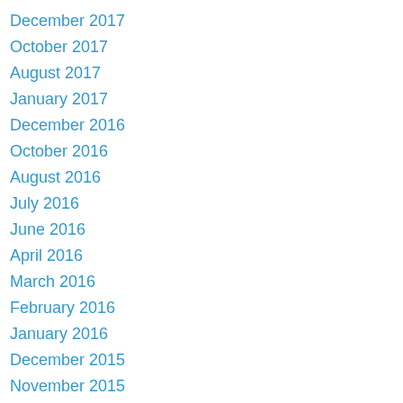December 2017
October 2017
August 2017
January 2017
December 2016
October 2016
August 2016
July 2016
June 2016
April 2016
March 2016
February 2016
January 2016
December 2015
November 2015
October 2015
September 2015
August 2015
July 2015
June 2015
April 2015